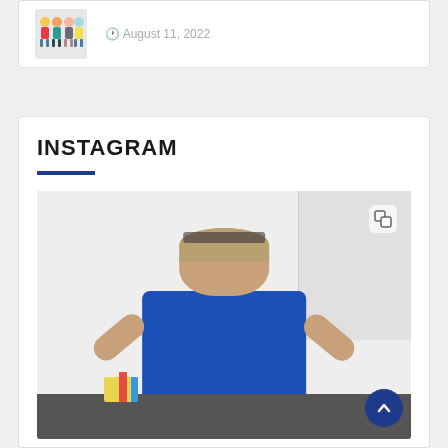[Figure (illustration): Small cartoon illustration of children figures in colorful clothing]
August 11, 2022
INSTAGRAM
[Figure (photo): A man in a blue polo shirt smiling with both arms raised in front of a whiteboard, appears to be a teacher or presenter in a classroom setting]